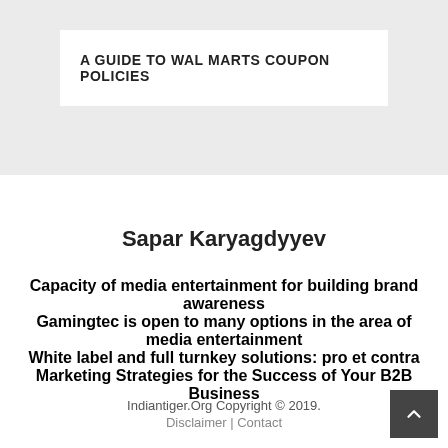A GUIDE TO WAL MARTS COUPON POLICIES
Sapar Karyagdyyev
Capacity of media entertainment for building brand awareness
Gamingtec is open to many options in the area of media entertainment
White label and full turnkey solutions: pro et contra
Marketing Strategies for the Success of Your B2B Business
Indiantiger.Org Copyright © 2019. Disclaimer | Contact